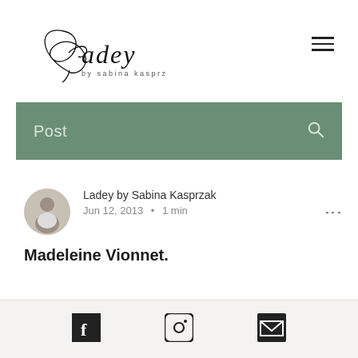[Figure (logo): Ladey by Sabina Kasprzak logo — cursive/script style wordmark with decorative bow/knot graphic, subtitle 'by sabina kasprzak' in small serif letters]
Post
Ladey by Sabina Kasprzak
Jun 12, 2013 • 1 min
Madeleine Vionnet.
[Figure (other): Footer with Facebook icon, Instagram icon, and email/envelope icon on light beige background]